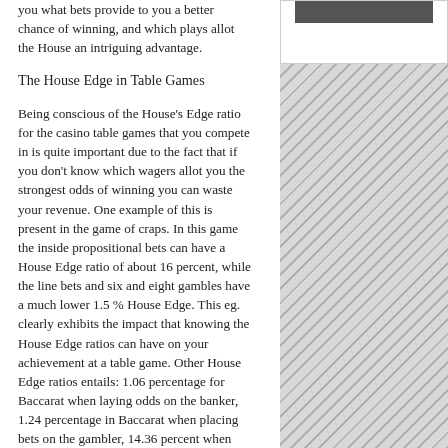you what bets provide to you a better chance of winning, and which plays allot the House an intriguing advantage.
[Figure (other): Right column with diagonal hatching pattern and a dark bar at top, white box below it]
The House Edge in Table Games
Being conscious of the House's Edge ratio for the casino table games that you compete in is quite important due to the fact that if you don't know which wagers allot you the strongest odds of winning you can waste your revenue. One example of this is present in the game of craps. In this game the inside propositional bets can have a House Edge ratio of about 16 percent, while the line bets and six and eight gambles have a much lower 1.5 % House Edge. This eg. clearly exhibits the impact that knowing the House Edge ratios can have on your achievement at a table game. Other House Edge ratios entails: 1.06 percentage for Baccarat when laying odds on the banker, 1.24 percentage in Baccarat when placing bets on the gambler, 14.36 percent when gambling on a tie.